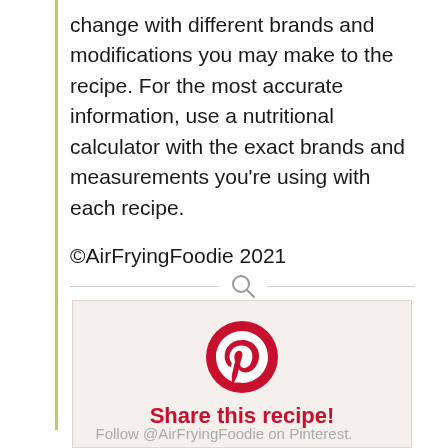change with different brands and modifications you may make to the recipe. For the most accurate information, use a nutritional calculator with the exact brands and measurements you're using with each recipe.
©AirFryingFoodie 2021
[Figure (other): Search icon divider with horizontal lines on either side]
[Figure (logo): Pinterest red circle logo with white P letter, with 'Share this recipe!' text in red bold below]
Follow @AirFryingFoodie on Pinterest.